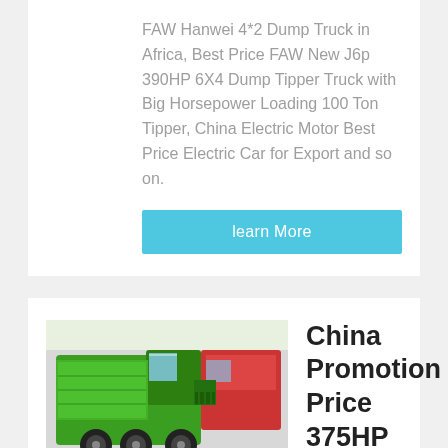FAW Hanwei 4*2 Dump Truck in Africa, Best Price FAW New J6p 390HP 6X4 Dump Tipper Truck with Big Horsepower Loading 100 Ton Tipper, China Electric Motor Best Price Electric Car for Export and so on.
learn More
[Figure (photo): Green Sinotruk HOWO dump truck displayed at a trade show or exhibition hall]
China Promotion Price 375HP 6X4 Sinotruk HOWO 10tyres ...